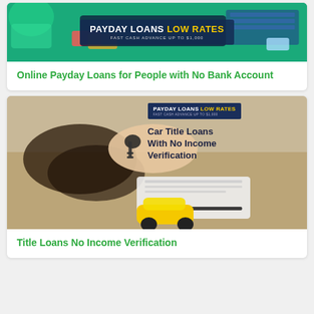[Figure (photo): Payday Loans Low Rates banner with teal background showing hands with credit cards, phone, and keyboard. Text reads PAYDAY LOANS LOW RATES - FAST CASH ADVANCE UP TO $1,000]
Online Payday Loans for People with No Bank Account
[Figure (photo): Car Title Loans With No Income Verification banner showing hands exchanging car keys, a clipboard with document and pen, and a yellow toy car. Overlay shows Payday Loans Low Rates logo and Car Title Loans With No Income Verification text.]
Title Loans No Income Verification